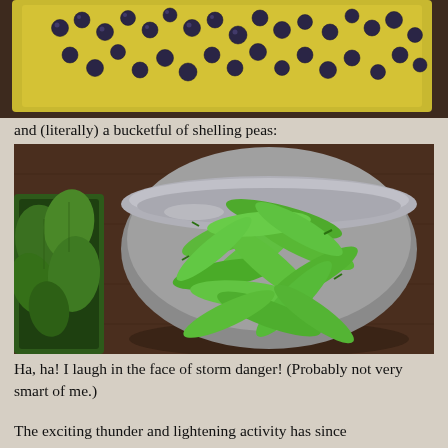[Figure (photo): Blueberries scattered in a yellow bucket/tray on a dark wooden surface, viewed from above.]
and (literally) a bucketful of shelling peas:
[Figure (photo): A large metal bowl filled with fresh green shelling pea pods, with basil leaves visible on the left side. Placed on a dark brown wooden surface.]
Ha, ha! I laugh in the face of storm danger! (Probably not very smart of me.)
The exciting thunder and lightening activity has since